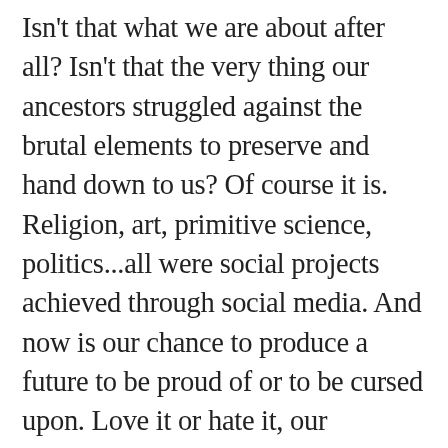Isn't that what we are about after all? Isn't that the very thing our ancestors struggled against the brutal elements to preserve and hand down to us? Of course it is. Religion, art, primitive science, politics...all were social projects achieved through social media. And now is our chance to produce a future to be proud of or to be cursed upon. Love it or hate it, our relationship with technology is becoming increasingly lop-sided in